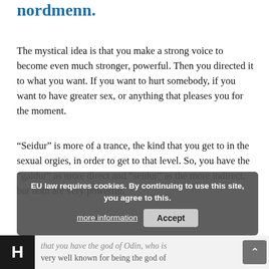nordmenn.
The mystical idea is that you make a strong voice to become even much stronger, powerful. Then you directed it to what you want. If you want to hurt somebody, if you want to have greater sex, or anything that pleases you for the moment.
“Seidur” is more of a trance, the kind that you get to in the sexual orgies, in order to get to that level. So, you have the “galdur” as more direct and “seidur” as the more indirect, but both are very powerful.
EU law requires cookies. By continuing to use this site, you agree to this. more information | Accept
that you have the god of Odin, who is very well known for being the god of